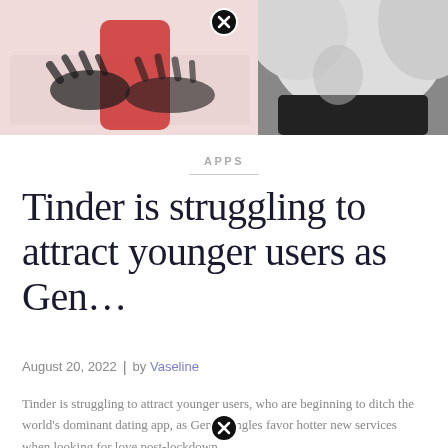[Figure (photo): Header image showing hands on a keyboard with a pink/red background on the left, and a black-and-white photo of a blonde woman on the right. A close button (circle with X) overlaid near the top center.]
APPS
Tinder is struggling to attract younger users as Gen…
August 20, 2022  |  by Vaseline
Tinder is struggling to attract younger users, who are beginning to ditch the world's dominant dating app, as Gen Z singles favor hotter new services when looking for love post-lockdown.